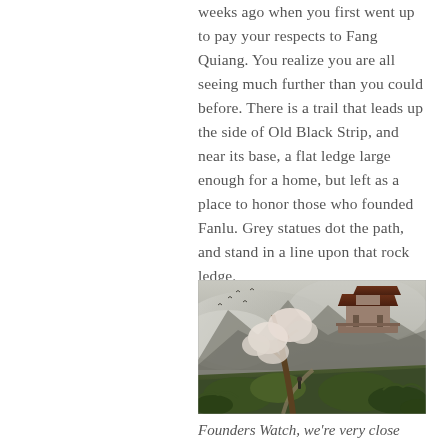weeks ago when you first went up to pay your respects to Fang Quiang. You realize you are all seeing much further than you could before. There is a trail that leads up the side of Old Black Strip, and near its base, a flat ledge large enough for a home, but left as a place to honor those who founded Fanlu. Grey statues dot the path, and stand in a line upon that rock ledge.
[Figure (illustration): Fantasy landscape illustration showing a misty mountainous scene with ancient Asian-style architecture, large trees with white blossoms, lush green vegetation, and a lone figure on a path. Birds fly in the foggy sky above.]
Founders Watch, we're very close now.